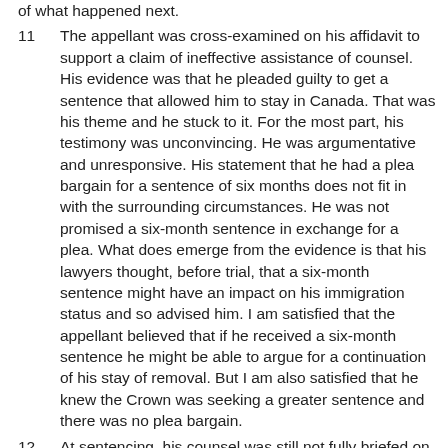of what happened next.
11	The appellant was cross-examined on his affidavit to support a claim of ineffective assistance of counsel. His evidence was that he pleaded guilty to get a sentence that allowed him to stay in Canada. That was his theme and he stuck to it. For the most part, his testimony was unconvincing. He was argumentative and unresponsive. His statement that he had a plea bargain for a sentence of six months does not fit in with the surrounding circumstances. He was not promised a six-month sentence in exchange for a plea. What does emerge from the evidence is that his lawyers thought, before trial, that a six-month sentence might have an impact on his immigration status and so advised him. I am satisfied that the appellant believed that if he received a six-month sentence he might be able to argue for a continuation of his stay of removal. But I am also satisfied that he knew the Crown was seeking a greater sentence and there was no plea bargain.
12	At sentencing, his counsel was still not fully briefed on the immigration implications of the sentence. The following is an excerpt from the transcript at the sentence hearing: